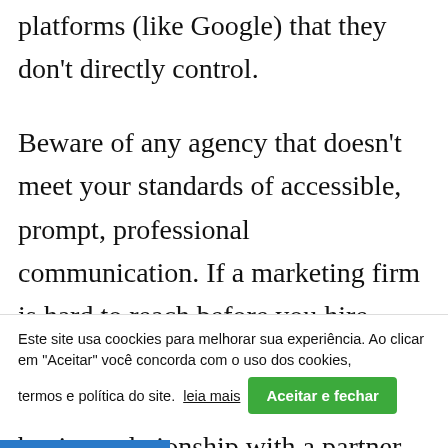platforms (like Google) that they don't directly control.
Beware of any agency that doesn't meet your standards of accessible, prompt, professional communication. If a marketing firm is hard to reach before you hire them, expect this to continue even when you're paying them, and never begin a relationship with a partner who
Este site usa coockies para melhorar sua experiência. Ao clicar em "Aceitar" você concorda com o uso dos cookies, termos e política do site. leia mais